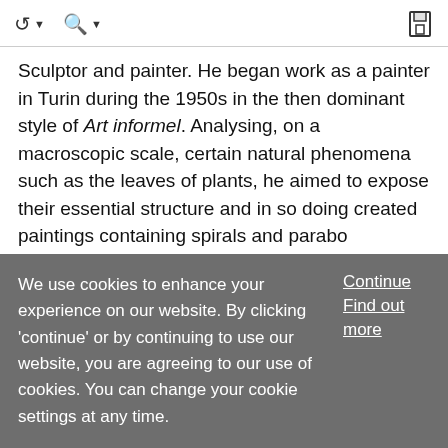Navigation and search toolbar with save icon
Sculptor and painter. He began work as a painter in Turin during the 1950s in the then dominant style of Art informel. Analysing, on a macroscopic scale, certain natural phenomena such as the leaves of plants, he aimed to expose their essential structure and in so doing created paintings containing spirals and parabo
... Show More
Article
Ontani, Luigi 🔒
We use cookies to enhance your experience on our website. By clicking 'continue' or by continuing to use our website, you are agreeing to our use of cookies. You can change your cookie settings at any time.